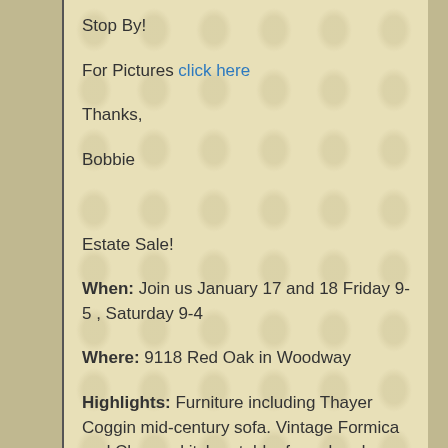Stop By!
For Pictures click here
Thanks,
Bobbie
Estate Sale!
When:  Join us January 17 and 18  Friday 9-5 , Saturday 9-4
Where: 9118 Red Oak in Woodway
Highlights: Furniture including Thayer Coggin mid-century sofa. Vintage Formica and Chrome kitchen table, formal and casual dining tables and chairs, dressers, tables, vanity and lamps.King bedroom set, sewing